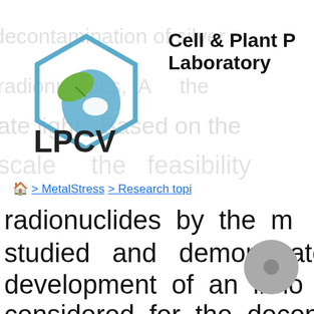[Figure (logo): LPCV laboratory logo showing a hexagonal shape with a leaf and water drop, with text LPCV below]
Cell & Plant P Laboratory
🏠 > MetalStress > Research topi
radionuclides by the m
studied and demonstrate
development of an inno
considered for the decon
from the nuclear industry